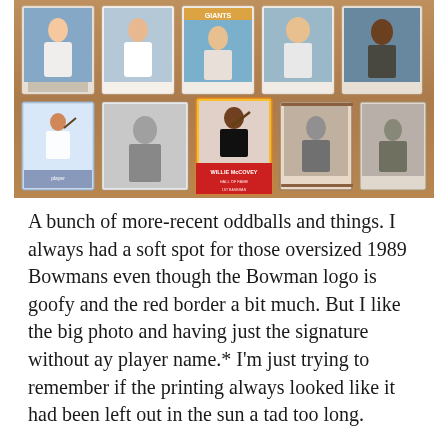[Figure (photo): A collection of baseball cards displayed on a wooden surface. Two rows of cards are visible: the top row shows 5 cards with color player photos (various Giants and other team players), and the bottom row shows 5 cards including a Willie McCovey Topps card in the center, black-and-white vintage cards, and colorful oddballs.]
A bunch of more-recent oddballs and things. I always had a soft spot for those oversized 1989 Bowmans even though the Bowman logo is goofy and the red border a bit much. But I like the big photo and having just the signature without ay player name.* I'm just trying to remember if the printing always looked like it had been left out in the sun a tad too long.